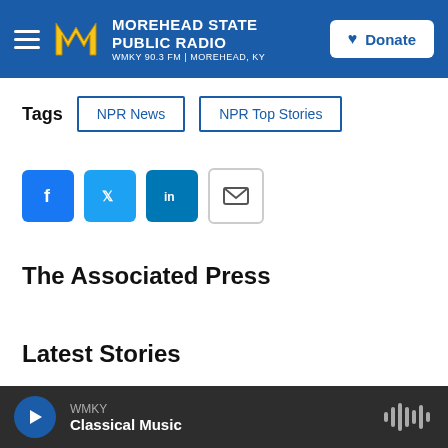Morehead State Public Radio — WMKY 90.3 FM | Morehead, KY
Tags   NPR News   NPR Top Stories
[Figure (other): Social share icons: Facebook, Twitter, LinkedIn, Email]
The Associated Press
Latest Stories
WMKY   Classical Music (audio player bar)